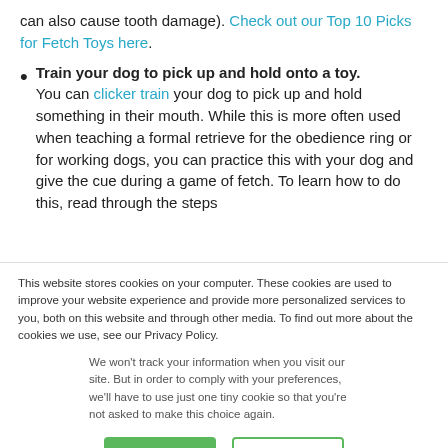can also cause tooth damage). Check out our Top 10 Picks for Fetch Toys here.
Train your dog to pick up and hold onto a toy. You can clicker train your dog to pick up and hold something in their mouth. While this is more often used when teaching a formal retrieve for the obedience ring or for working dogs, you can practice this with your dog and give the cue during a game of fetch. To learn how to do this, read through the steps
This website stores cookies on your computer. These cookies are used to improve your website experience and provide more personalized services to you, both on this website and through other media. To find out more about the cookies we use, see our Privacy Policy.
We won't track your information when you visit our site. But in order to comply with your preferences, we'll have to use just one tiny cookie so that you're not asked to make this choice again.
Accept
Decline